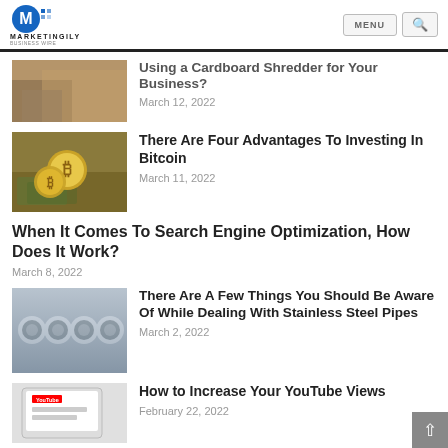MARKETINGILY — MENU, Search
Using a Cardboard Shredder for Your Business?
March 12, 2022
[Figure (photo): Stack of gold Bitcoin coins on dollar bills]
There Are Four Advantages To Investing In Bitcoin
March 11, 2022
When It Comes To Search Engine Optimization, How Does It Work?
March 8, 2022
[Figure (photo): Bundle of stainless steel pipes]
There Are A Few Things You Should Be Aware Of While Dealing With Stainless Steel Pipes
March 2, 2022
[Figure (photo): Tablet showing YouTube interface]
How to Increase Your YouTube Views
February 22, 2022